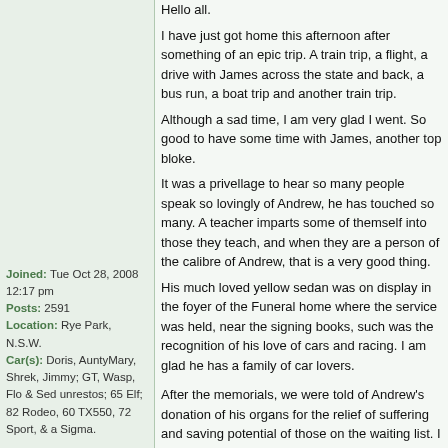Joined: Tue Oct 28, 2008 12:17 pm
Posts: 2591
Location: Rye Park, N.S.W.
Car(s): Doris, AuntyMary, Shrek, Jimmy; GT, Wasp, Flo & Sed unrestos; 65 Elf; 82 Rodeo, 60 TX550, 72 Sport, & a Sigma.
Hello all.
I have just got home this afternoon after something of an epic trip. A train trip, a flight, a drive with James across the state and back, a bus run, a boat trip and another train trip.
Although a sad time, I am very glad I went. So good to have some time with James, another top bloke.
It was a privellage to hear so many people speak so lovingly of Andrew, he has touched so many. A teacher imparts some of themself into those they teach, and when they are a person of the calibre of Andrew, that is a very good thing.
His much loved yellow sedan was on display in the foyer of the Funeral home where the service was held, near the signing books, such was the recognition of his love of cars and racing. I am glad he has a family of car lovers.

After the memorials, we were told of Andrew's donation of his organs for the relief of suffering and saving potential of those on the waiting list. I have a good friend who is awaiting a heart and lung transplant, and she is young. The need is very apparent to me. This great man has given of himself for others.
I am privellaged to call him friend.